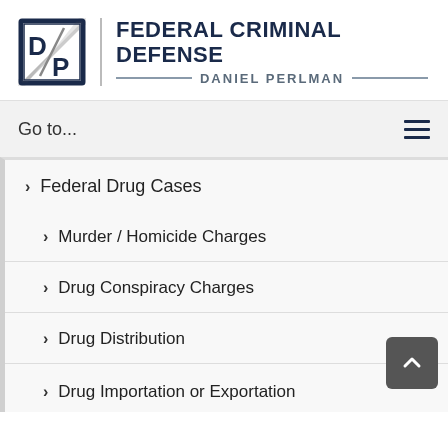[Figure (logo): Daniel Perlman Federal Criminal Defense logo — a square with D/P initials and diagonal stripe, dark navy and grey]
FEDERAL CRIMINAL DEFENSE
DANIEL PERLMAN
Go to...
> Federal Drug Cases
> Murder / Homicide Charges
> Drug Conspiracy Charges
> Drug Distribution
> Drug Importation or Exportation